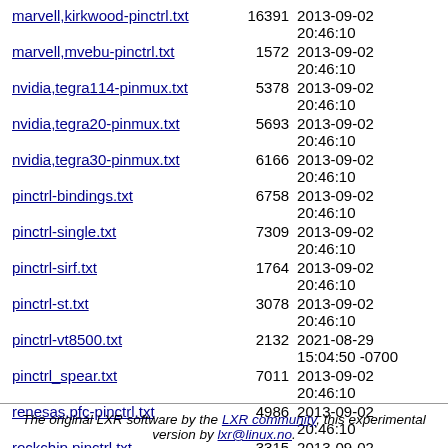| Filename | Size | Date |
| --- | --- | --- |
| marvell,kirkwood-pinctrl.txt | 16391 | 2013-09-02 20:46:10 |
| marvell,mvebu-pinctrl.txt | 1572 | 2013-09-02 20:46:10 |
| nvidia,tegra114-pinmux.txt | 5378 | 2013-09-02 20:46:10 |
| nvidia,tegra20-pinmux.txt | 5693 | 2013-09-02 20:46:10 |
| nvidia,tegra30-pinmux.txt | 6166 | 2013-09-02 20:46:10 |
| pinctrl-bindings.txt | 6758 | 2013-09-02 20:46:10 |
| pinctrl-single.txt | 7309 | 2013-09-02 20:46:10 |
| pinctrl-sirf.txt | 1764 | 2013-09-02 20:46:10 |
| pinctrl-st.txt | 3078 | 2013-09-02 20:46:10 |
| pinctrl-vt8500.txt | 2132 | 2021-08-29 15:04:50 -0700 |
| pinctrl_spear.txt | 7011 | 2013-09-02 20:46:10 |
| renesas,pfc-pinctrl.txt | 4986 | 2013-09-02 20:46:10 |
| rockchip,pinctrl.txt | 3315 | 2013-09-02 20:46:10 |
| samsung-pinctrl.txt | 11507 | 2013-09-02 20:46:10 |
| ste,abx500.txt | 7795 | 2013-09-02 20:46:10 |
| ste,nomadik.txt | 3757 | 2013-09-02 20:46:10 |
The original LXR software by the LXR community, this experimental version by lxr@linux.no.